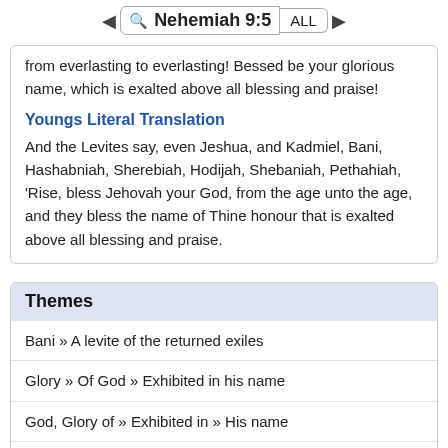Nehemiah 9:5
from everlasting to everlasting! Bessed be your glorious name, which is exalted above all blessing and praise!
Youngs Literal Translation
And the Levites say, even Jeshua, and Kadmiel, Bani, Hashabniah, Sherebiah, Hodijah, Shebaniah, Pethahiah, 'Rise, bless Jehovah your God, from the age unto the age, and they bless the name of Thine honour that is exalted above all blessing and praise.
Themes
Bani » A levite of the returned exiles
Glory » Of God » Exhibited in his name
God, Glory of » Exhibited in » His name
God » Mercy of » Name of, mighty